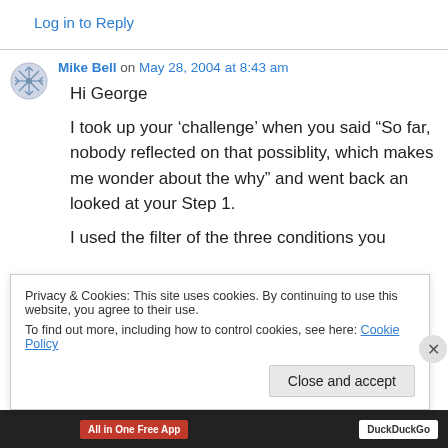Log in to Reply
Mike Bell on May 28, 2004 at 8:43 am
Hi George
I took up your ‘challenge’ when you said “So far, nobody reflected on that possiblity, which makes me wonder about the why” and went back an looked at your Step 1.
I used the filter of the three conditions you
Privacy & Cookies: This site uses cookies. By continuing to use this website, you agree to their use.
To find out more, including how to control cookies, see here: Cookie Policy
Close and accept